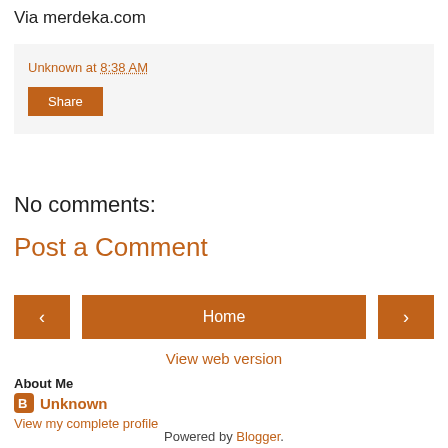Via merdeka.com
Unknown at 8:38 AM
Share
No comments:
Post a Comment
‹  Home  ›
View web version
About Me
Unknown
View my complete profile
Powered by Blogger.